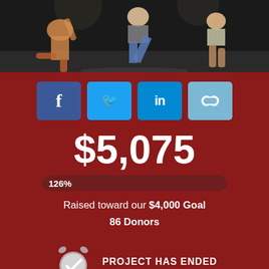[Figure (photo): Performance photo showing dancers on a dark stage, viewed from above/side]
[Figure (infographic): Social media share buttons: Facebook, Twitter, LinkedIn, and link icon]
$5,075
126%
Raised toward our $4,000 Goal
86 Donors
PROJECT HAS ENDED
Description